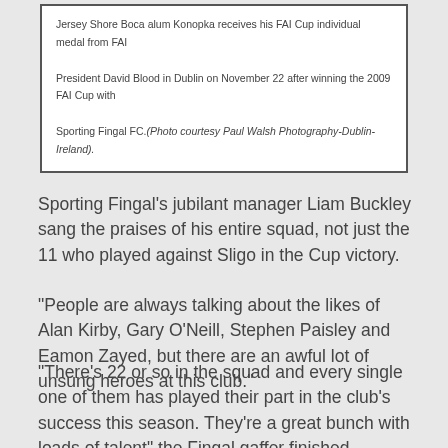Jersey Shore Boca alum Konopka receives his FAI Cup individual medal from FAI President David Blood in Dublin on November 22 after winning the 2009 FAI Cup with Sporting Fingal FC.(Photo courtesy Paul Walsh Photography-Dublin-Ireland).
Sporting Fingal's jubilant manager Liam Buckley sang the praises of his entire squad, not just the 11 who played against Sligo in the Cup victory.
“People are always talking about the likes of Alan Kirby, Gary O’Neill, Stephen Paisley and Eamon Zayed, but there are an awful lot of unsung heroes at this club.”
“There’s 22 or so in the squad and every single one of them has played their part in the club’s success this season. They’re a great bunch with loads of talent” the Fingal gaffer finished.